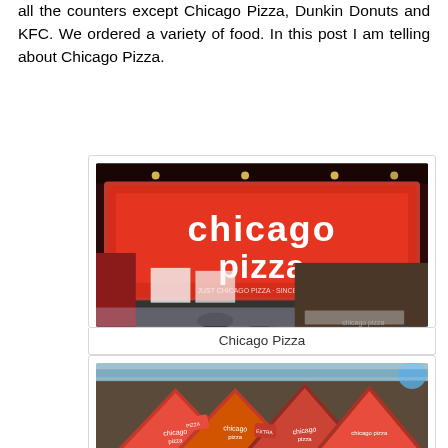all the counters except Chicago Pizza, Dunkin Donuts and KFC. We ordered a variety of food. In this post I am telling about Chicago Pizza.
[Figure (photo): Photo of Chicago Pizza restaurant storefront with red illuminated sign showing 'chicago pizza' logo and staff/counter visible below]
Chicago Pizza
[Figure (photo): Photo of Chicago Pizza boxes displayed in a glass counter/display case, showing triangular pizza slice boxes with Chicago Pizza branding]